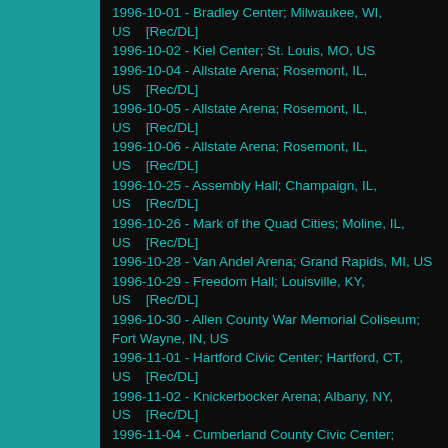1996-10-01 - Bradley Center; Milwaukee, WI, US    [Rec/DL]
1996-10-02 - Kiel Center; St. Louis, MO, US
1996-10-04 - Allstate Arena; Rosemont, IL, US    [Rec/DL]
1996-10-05 - Allstate Arena; Rosemont, IL, US    [Rec/DL]
1996-10-06 - Allstate Arena; Rosemont, IL, US    [Rec/DL]
1996-10-25 - Assembly Hall; Champaign, IL, US    [Rec/DL]
1996-10-26 - Mark of the Quad Cities; Moline, IL, US    [Rec/DL]
1996-10-28 - Van Andel Arena; Grand Rapids, MI, US
1996-10-29 - Freedom Hall; Louisville, KY, US    [Rec/DL]
1996-10-30 - Allen County War Memorial Coliseum; Fort Wayne, IN, US
1996-11-01 - Hartford Civic Center; Hartford, CT, US    [Rec/DL]
1996-11-02 - Knickerbocker Arena; Albany, NY, US    [Rec/DL]
1996-11-04 - Cumberland County Civic Center; Portland, ME, US    [Rec/DL]
1996-11-05 - Fleet Center; Boston, MA, US    [Rec/DL]
1996-11-06 - Worcester Centrum; Worcester, MA, US    [Rec/DL]